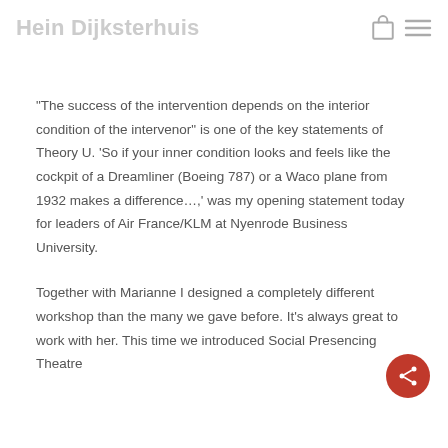Hein Dijksterhuis
“The success of the intervention depends on the interior condition of the intervenor” is one of the key statements of Theory U. ‘So if your inner condition looks and feels like the cockpit of a Dreamliner (Boeing 787) or a Waco plane from 1932 makes a difference…,’ was my opening statement today for leaders of Air France/KLM at Nyenrode Business University.
Together with Marianne I designed a completely different workshop than the many we gave before. It’s always great to work with her. This time we introduced Social Presencing Theatre